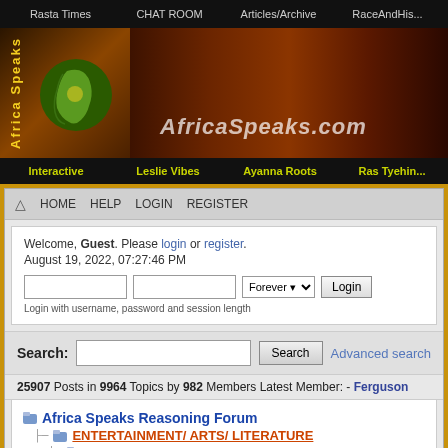Rasta Times | CHAT ROOM | Articles/Archive | RaceAndHis...
[Figure (screenshot): Africa Speaks website banner with Africa continent graphic and people imagery]
Interactive | Leslie Vibes | Ayanna Roots | Ras Tyehin...
HOME HELP LOGIN REGISTER
Welcome, Guest. Please login or register. August 19, 2022, 07:27:46 PM
Login with username, password and session length
Search: [input] Search Advanced search
25907 Posts in 9964 Topics by 982 Members Latest Member: - Ferguson
Africa Speaks Reasoning Forum > ENTERTAINMENT/ ARTS/ LITERATURE > Arts & Music (Moderators: Tyehimba, leslie) > The Corporation
Pages: [1]
| Author | Topic: The Corporation (Read 5511 times) |
| --- | --- |